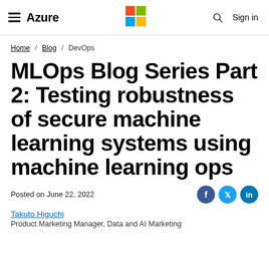Azure — Microsoft logo — Search — Sign in
Home / Blog / DevOps
MLOps Blog Series Part 2: Testing robustness of secure machine learning systems using machine learning ops
Posted on June 22, 2022
Takuto Higuchi
Product Marketing Manager, Data and AI Marketing